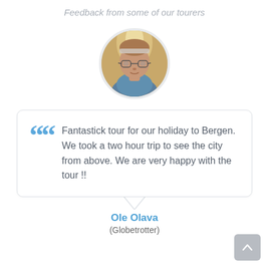Feedback from some of our tourers
[Figure (photo): Circular avatar photo of a person wearing glasses and a blue sweater, with warm background lighting]
Fantastick tour for our holiday to Bergen. We took a two hour trip to see the city from above. We are very happy with the tour !!
Ole Olava
(Globetrotter)